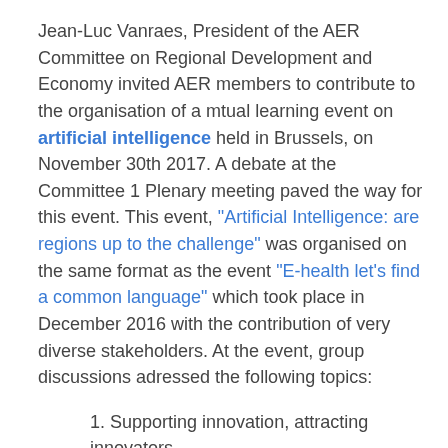Jean-Luc Vanraes, President of the AER Committee on Regional Development and Economy invited AER members to contribute to the organisation of a mtual learning event on artificial intelligence held in Brussels, on November 30th 2017. A debate at the Committee 1 Plenary meeting paved the way for this event. This event, "Artificial Intelligence: are regions up to the challenge" was organised on the same format as the event "E-health let's find a common language" which took place in December 2016 with the contribution of very diverse stakeholders. At the event, group discussions adressed the following topics:
1. Supporting innovation, attracting innovators
2. The Health Revolution
3. Culture In a Digital World
4. Skills and Competences: racing with machines